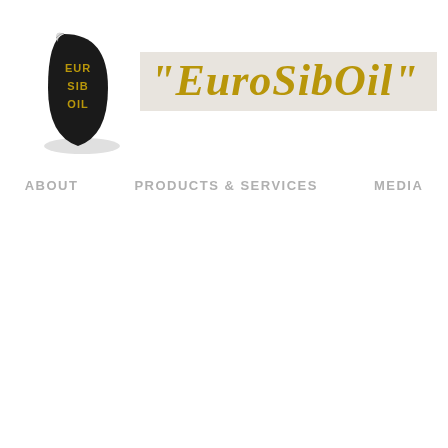[Figure (logo): EuroSibOil company logo: a black teardrop/oil drop shape with gold text 'EUR SIB OIL' arranged vertically inside, with a curled top-left corner effect]
"EuroSibOil"
ABOUT   PRODUCTS & SERVICES   MEDIA